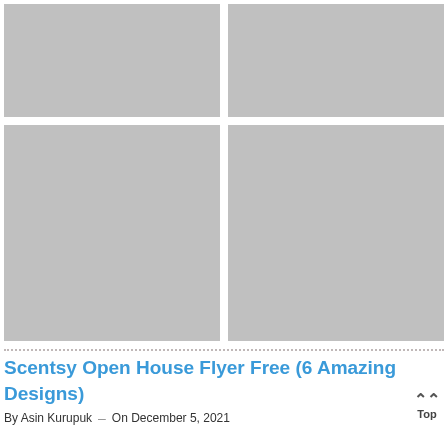[Figure (photo): Gray placeholder image, top-left]
[Figure (photo): Gray placeholder image, top-right]
[Figure (photo): Gray placeholder image, bottom-left, taller]
[Figure (photo): Gray placeholder image, bottom-right, taller]
Scentsy Open House Flyer Free (6 Amazing Designs)
By Asin Kurupuk   On December 5, 2021